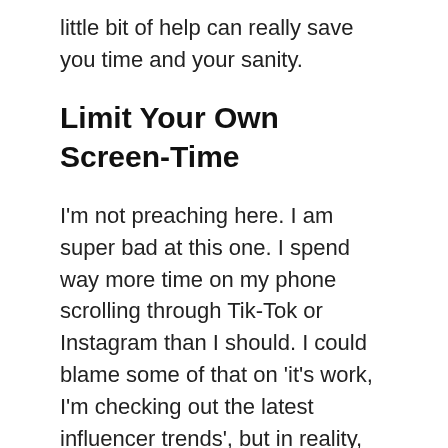little bit of help can really save you time and your sanity.
Limit Your Own Screen-Time
I'm not preaching here. I am super bad at this one. I spend way more time on my phone scrolling through Tik-Tok or Instagram than I should. I could blame some of that on ‘it’s work, I’m checking out the latest influencer trends’, but in reality, I’m trying to avoid the vacuuming,